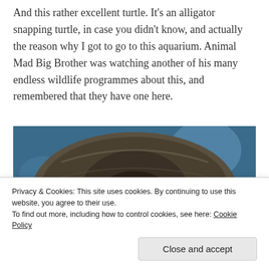And this rather excellent turtle. It’s an alligator snapping turtle, in case you didn’t know, and actually the reason why I got to go to this aquarium. Animal Mad Big Brother was watching another of his many endless wildlife programmes about this, and remembered that they have one here.
[Figure (photo): Close-up photo of an alligator snapping turtle viewed from above/front, showing its heavily textured, wrinkled dark grey-brown shell and head against a blue water background.]
Privacy & Cookies: This site uses cookies. By continuing to use this website, you agree to their use.
To find out more, including how to control cookies, see here: Cookie Policy